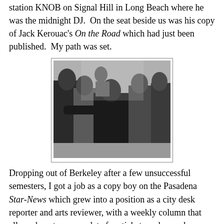station KNOB on Signal Hill in Long Beach where he was the midnight DJ.  On the seat beside us was his copy of Jack Kerouac's On the Road which had just been published.  My path was set.
[Figure (photo): Black and white photograph of several people, with a person in a dark shirt in the center holding arms outstretched, surrounded by a group of people in a casual indoor or semi-outdoor setting.]
Dropping out of Berkeley after a few unsuccessful semesters, I got a job as a copy boy on the Pasadena Star-News which grew into a position as a city desk reporter and arts reviewer, with a weekly column that allowed me to accumulate free tickets and records.  Writing took me many places: to Newark, NJ, as a reporter for UPI, to New York where I wrote for Radio-TV Daily, a trade paper, and to London where I wrote about American TV programs seen in England for TV World. I freelanced articles on music to Sing Out! and the Los Angeles Free Press. Just as I'd given up